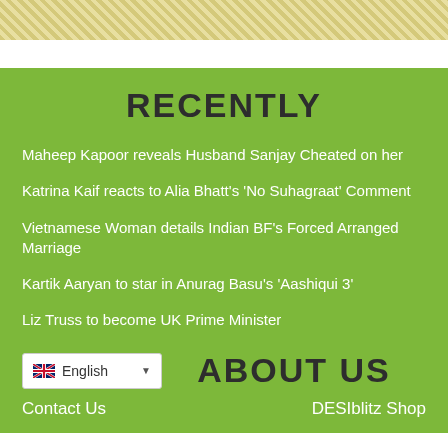[Figure (other): Decorative diagonal stripe pattern in gold/yellow tones at top of page]
RECENTLY
Maheep Kapoor reveals Husband Sanjay Cheated on her
Katrina Kaif reacts to Alia Bhatt's 'No Suhagraat' Comment
Vietnamese Woman details Indian BF's Forced Arranged Marriage
Kartik Aaryan to star in Anurag Basu's 'Aashiqui 3'
Liz Truss to become UK Prime Minister
ABOUT US
Contact Us
DESIblitz Shop